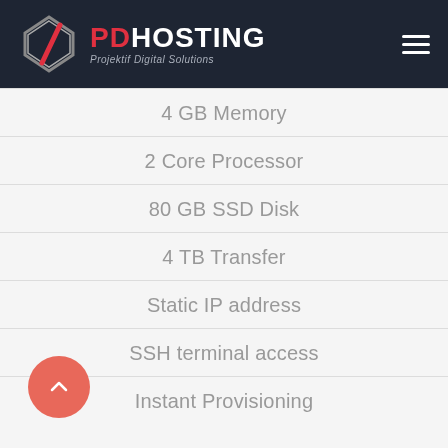PD HOSTING — Projektif Digital Solutions
4 GB Memory
2 Core Processor
80 GB SSD Disk
4 TB Transfer
Static IP address
SSH terminal access
Instant Provisioning